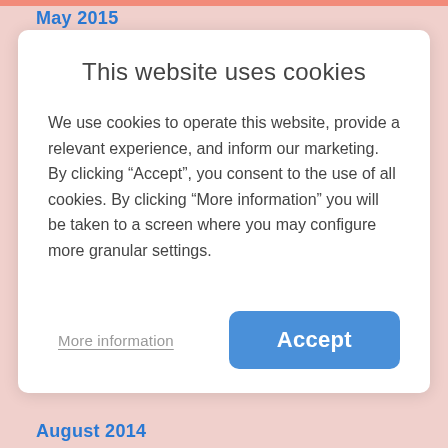May 2015
This website uses cookies
We use cookies to operate this website, provide a relevant experience, and inform our marketing. By clicking “Accept”, you consent to the use of all cookies. By clicking “More information” you will be taken to a screen where you may configure more granular settings.
More information
Accept
August 2014